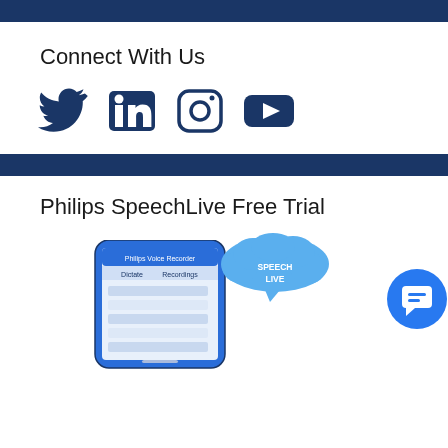[Figure (other): Dark navy blue horizontal banner bar at top of page]
Connect With Us
[Figure (infographic): Social media icons: Twitter, LinkedIn, Instagram, YouTube in dark navy blue color]
[Figure (other): Dark navy blue horizontal banner bar in middle of page]
Philips SpeechLive Free Trial
[Figure (screenshot): Philips SpeechLive app promotional image showing a smartphone with Philips Voice Recorder app interface, a blue cloud speech bubble with SPEECHLIVE text, and a blue circular chat support button on the right]